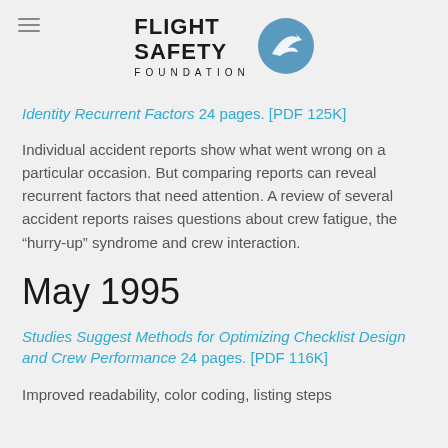[Figure (logo): Flight Safety Foundation logo with airplane icon and text FLIGHT SAFETY FOUNDATION]
Identity Recurrent Factors 24 pages. [PDF 125K]
Individual accident reports show what went wrong on a particular occasion. But comparing reports can reveal recurrent factors that need attention. A review of several accident reports raises questions about crew fatigue, the “hurry-up” syndrome and crew interaction.
May 1995
Studies Suggest Methods for Optimizing Checklist Design and Crew Performance 24 pages. [PDF 116K]
Improved readability, color coding, listing steps